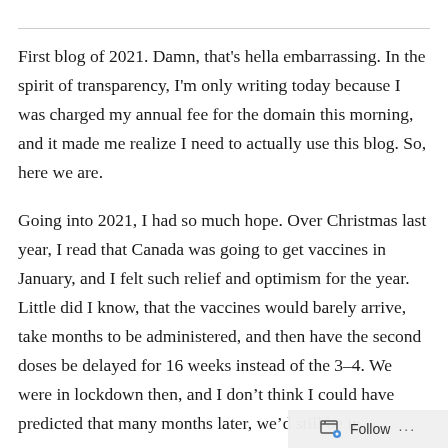First blog of 2021. Damn, that's hella embarrassing. In the spirit of transparency, I'm only writing today because I was charged my annual fee for the domain this morning, and it made me realize I need to actually use this blog. So, here we are.
Going into 2021, I had so much hope. Over Christmas last year, I read that Canada was going to get vaccines in January, and I felt such relief and optimism for the year. Little did I know, that the vaccines would barely arrive, take months to be administered, and then have the second doses be delayed for 16 weeks instead of the 3–4. We were in lockdown then, and I don't think I could have predicted that many months later, we'd still be in